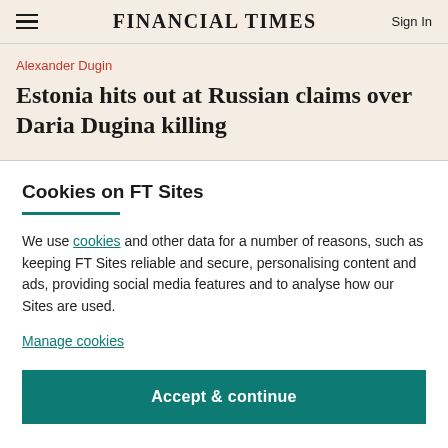FINANCIAL TIMES
Alexander Dugin
Estonia hits out at Russian claims over Daria Dugina killing
Cookies on FT Sites
We use cookies and other data for a number of reasons, such as keeping FT Sites reliable and secure, personalising content and ads, providing social media features and to analyse how our Sites are used.
Manage cookies
Accept & continue